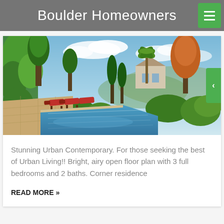Boulder Homeowners
[Figure (photo): Outdoor infinity pool with red lounge chairs, surrounded by lush green trees and vegetation, with a view of the valley and blue sky with clouds.]
Stunning Urban Contemporary. For those seeking the best of Urban Living!! Bright, airy open floor plan with 3 full bedrooms and 2 baths. Corner residence
READ MORE »